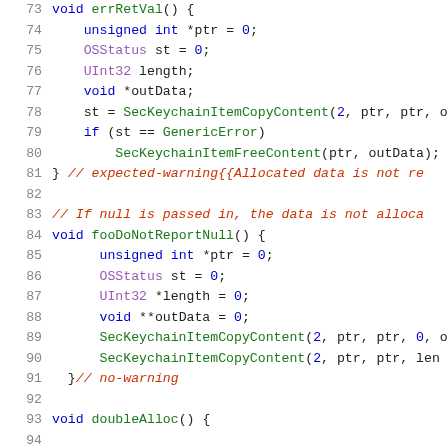[Figure (screenshot): Source code snippet in C/Objective-C showing functions errRetVal, fooDoNotReportNull, and doubleAlloc with syntax highlighting. Line numbers 73–93 visible.]